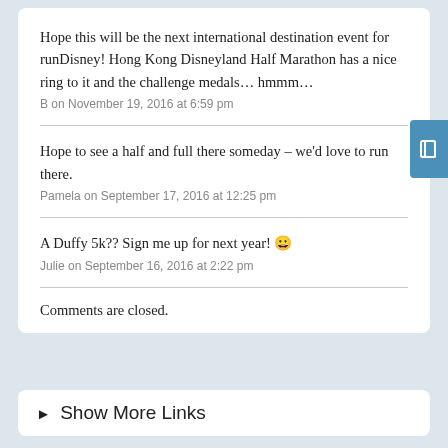Hope this will be the next international destination event for runDisney! Hong Kong Disneyland Half Marathon has a nice ring to it and the challenge medals… hmmm…
B on November 19, 2016 at 6:59 pm
Hope to see a half and full there someday – we'd love to run there.
Pamela on September 17, 2016 at 12:25 pm
A Duffy 5k?? Sign me up for next year! 🙂
Julie on September 16, 2016 at 2:22 pm
Comments are closed.
► Show More Links